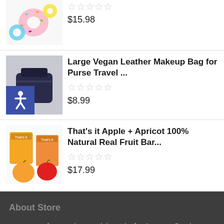[Figure (photo): Product image of colorful donut-shaped items]
$15.98
[Figure (photo): Large Vegan Leather Makeup Bag - dark blue/navy]
Large Vegan Leather Makeup Bag for Purse Travel ...
$8.99
[Figure (photo): That's it Apple + Apricot fruit bar package]
That's it Apple + Apricot 100% Natural Real Fruit Bar...
$17.99
About Store
www.veganbu.com is a participant in the Amazon Services LLC Associates Program, and we earn a commission of purchases made through the Amazon.com link on our website.